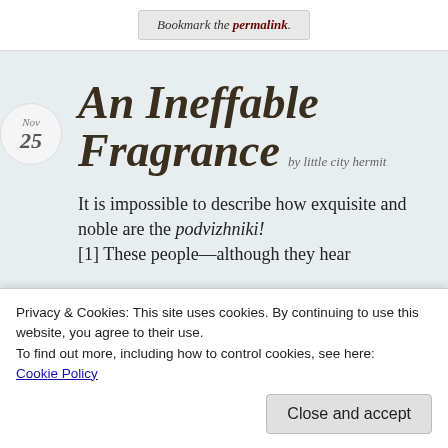Bookmark the permalink.
An Ineffable Fragrance
by little city hermit
It is impossible to describe how exquisite and noble are the podvizhniki! [1] These people—although they hear
Privacy & Cookies: This site uses cookies. By continuing to use this website, you agree to their use.
To find out more, including how to control cookies, see here:
Cookie Policy
Close and accept